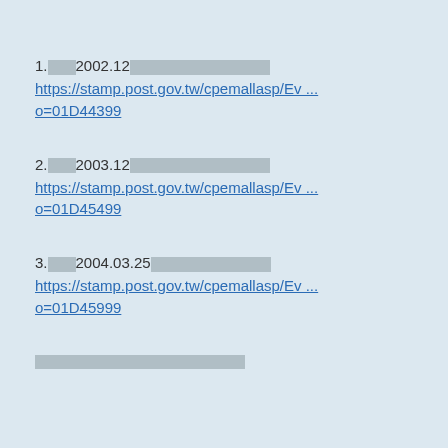1.□□□□2002.12□□□□□□□□□□□□□□□□□□□□□□□□□□ https://stamp.post.gov.tw/cpemallasp/Ev ... o=01D44399
2.□□□□2003.12□□□□□□□□□□□□□□□□□□□□□□□□□□ https://stamp.post.gov.tw/cpemallasp/Ev ... o=01D45499
3.□□□□2004.03.25□□□□□□□□□□□□□□□□□□□□□□□□□□ https://stamp.post.gov.tw/cpemallasp/Ev ... o=01D45999
□□□□□□□□□□□□□□□□□□□□□□□